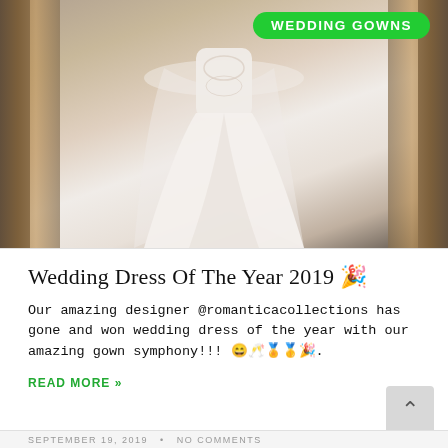[Figure (photo): Wedding gown displayed on a figure, with a lace bodice and full tulle skirt, set against a wood-paneled background. A green 'WEDDING GOWNS' tag badge appears in the top right corner.]
Wedding Dress Of The Year 2019 🎉
Our amazing designer @romanticacollections has gone and won wedding dress of the year with our amazing gown symphony!!! 😄🥂🏅🥇🎉.
READ MORE »
SEPTEMBER 19, 2019   •   NO COMMENTS